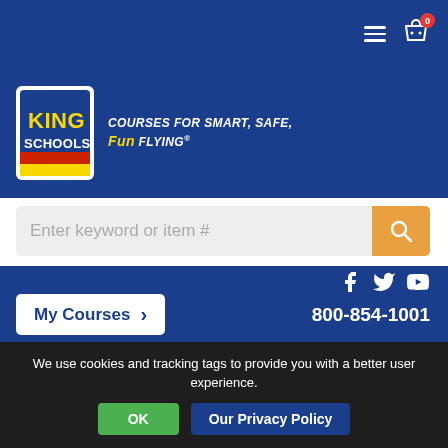[Figure (logo): King Schools logo with tagline: Courses for Smart, Safe, Fun Flying]
Enter keyword or item #
800-854-1001
My Courses
their training because it so clearly demonstrates every flying skill they had to master on their way to their certificate or rating.
We use cookies and tracking tags to provide you with a better user experience.